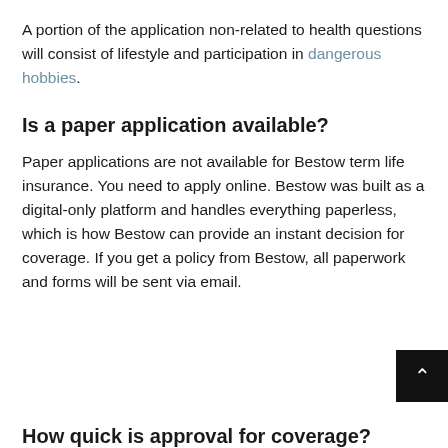A portion of the application non-related to health questions will consist of lifestyle and participation in dangerous hobbies.
Is a paper application available?
Paper applications are not available for Bestow term life insurance. You need to apply online. Bestow was built as a digital-only platform and handles everything paperless, which is how Bestow can provide an instant decision for coverage. If you get a policy from Bestow, all paperwork and forms will be sent via email.
How quick is approval for coverage?